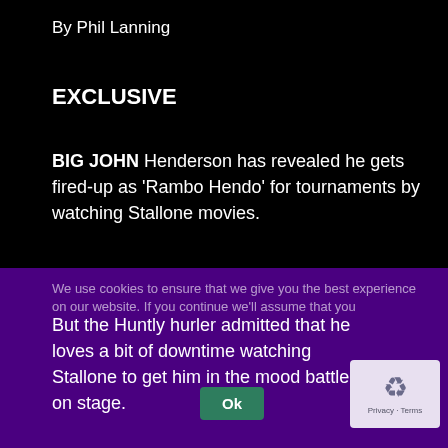By Phil Lanning
EXCLUSIVE
BIG JOHN Henderson has revealed he gets fired-up as 'Rambo Hendo' for tournaments by watching Stallone movies.
The Highlander will be back in action in the PDC Super Series in Milton Keynes on June 14 after two months away from action.
We use cookies to ensure that we give you the best experience on
But the Huntly hurler admitted that he loves a bit of downtime watching Stallone to get him in the mood battle on stage.